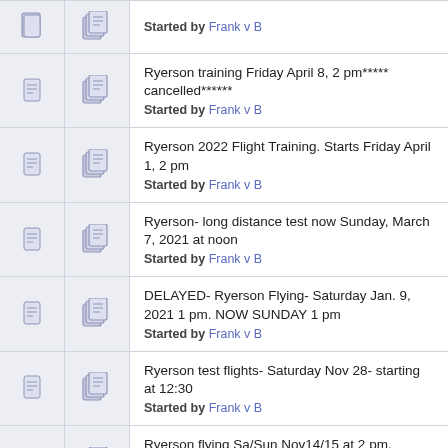Started by Frank v B
Ryerson training Friday April 8, 2 pm***** cancelled****** Started by Frank v B
Ryerson 2022 Flight Training. Starts Friday April 1, 2 pm Started by Frank v B
Ryerson- long distance test now Sunday, March 7, 2021 at noon Started by Frank v B
DELAYED- Ryerson Flying- Saturday Jan. 9, 2021 1 pm. NOW SUNDAY 1 pm Started by Frank v B
Ryerson test flights- Saturday Nov 28- starting at 12:30 Started by Frank v B
Ryerson flying Sa/Sun Nov14/15 at 2 pm. *******CANCELLED****** Started by Frank v B
Bill and Travis maiden a quad Started by travis-k